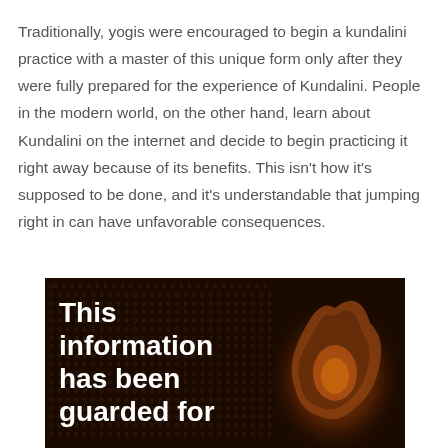Traditionally, yogis were encouraged to begin a kundalini practice with a master of this unique form only after they were fully prepared for the experience of Kundalini. People in the modern world, on the other hand, learn about Kundalini on the internet and decide to begin practicing it right away because of its benefits. This isn't how it's supposed to be done, and it's understandable that jumping right in can have unfavorable consequences.
[Figure (photo): Dark background image with binary code numbers pattern and a hooded figure silhouette glowing amber/orange. White bold text overlay reads: 'This information has been guarded for']